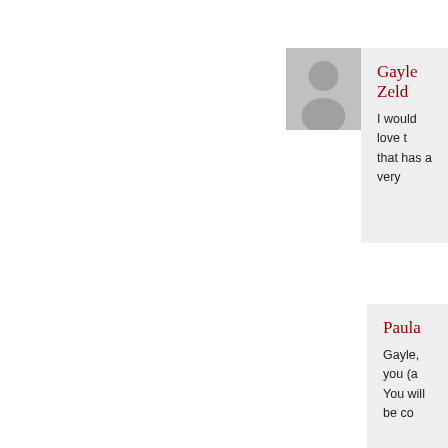[Figure (illustration): Default user avatar placeholder - grey silhouette of a person on grey background, for Gayle Zeld...]
Gayle Zeld...
I would love t... that has a very...
Paula
Gayle, you (a... You will be co...
[Figure (illustration): Default user avatar placeholder - grey silhouette of a person on grey background, for Margaret C...]
Margaret C...
I would love t... really great pr... and I would li...